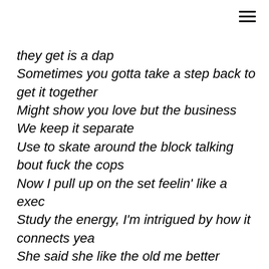≡
they get is a dap
Sometimes you gotta take a step back to get it together
Might show you love but the business We keep it separate
Use to skate around the block talking bout fuck the cops
Now I pull up on the set feelin' like a exec
Study the energy, I'm intrigued by how it connects yea
She said she like the old me better
From the sunflower to the show me nigga
You can't be my only girl I'm not your only